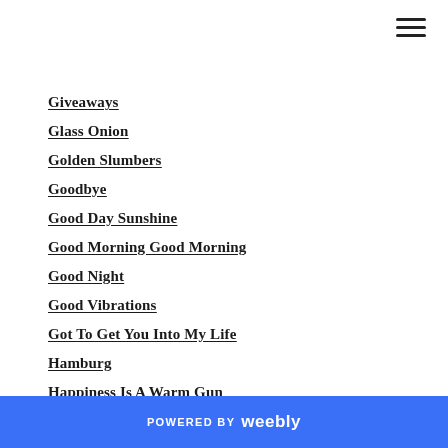Giveaways
Glass Onion
Golden Slumbers
Goodbye
Good Day Sunshine
Good Morning Good Morning
Good Night
Good Vibrations
Got To Get You Into My Life
Hamburg
Happiness Is A Warm Gun
Harmonic Analysis
Hello Goodbye
Hello Little Girl
Help-album
POWERED BY weebly